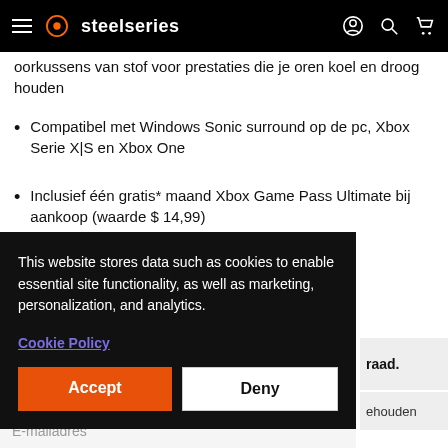steelseries
oorkussens van stof voor prestaties die je oren koel en droog houden
Compatibel met Windows Sonic surround op de pc, Xbox Serie X|S en Xbox One
Inclusief één gratis* maand Xbox Game Pass Ultimate bij aankoop (waarde $ 14,99)
This website stores data such as cookies to enable essential site functionality, as well as marketing, personalization, and analytics.
Cookie Policy
Accept
Deny
raad.
ehouden
E-mailadres